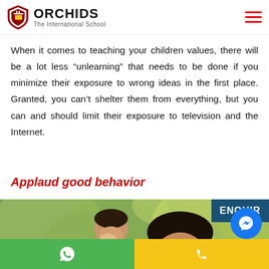ORCHIDS The International School
When it comes to teaching your children values, there will be a lot less “unlearning” that needs to be done if you minimize their exposure to wrong ideas in the first place. Granted, you can’t shelter them from everything, but you can and should limit their exposure to television and the Internet.
Applaud good behavior
[Figure (photo): Photo of a smiling mother and daughter outdoors with green blurred background]
ENQUIRE
WhatsApp icon and phone call icon in bottom bar